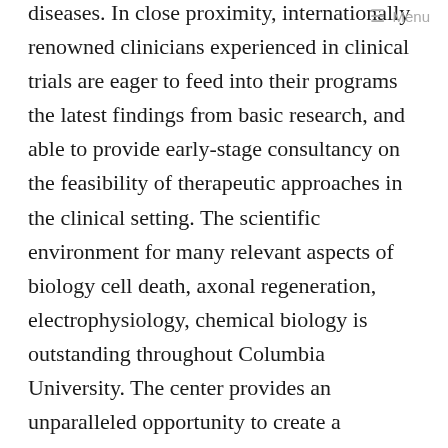≡ Menu
diseases. In close proximity, internationally renowned clinicians experienced in clinical trials are eager to feed into their programs the latest findings from basic research, and able to provide early-stage consultancy on the feasibility of therapeutic approaches in the clinical setting. The scientific environment for many relevant aspects of biology cell death, axonal regeneration, electrophysiology, chemical biology is outstanding throughout Columbia University. The center provides an unparalleled opportunity to create a continuum of high-level translational research focused on the motor neuron.
Your support of Columbia's Motor Neuron Center will benefit patients and their families through earlier diagnosis, improved patient care and the discovery of novel treatments. For more information, please call the